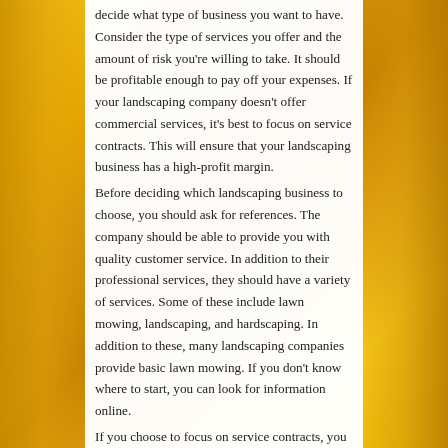decide what type of business you want to have. Consider the type of services you offer and the amount of risk you're willing to take. It should be profitable enough to pay off your expenses. If your landscaping company doesn't offer commercial services, it's best to focus on service contracts. This will ensure that your landscaping business has a high-profit margin.
Before deciding which landscaping business to choose, you should ask for references. The company should be able to provide you with quality customer service. In addition to their professional services, they should have a variety of services. Some of these include lawn mowing, landscaping, and hardscaping. In addition to these, many landscaping companies provide basic lawn mowing. If you don't know where to start, you can look for information online.
If you choose to focus on service contracts, you will have a higher profit margin than a business that focuses on residential landscaping. This is because you will have fewer clients who will be spending money on landscaping. On the other hand, residential landscaping is more likely to be a great choice if you're able to attract more money...